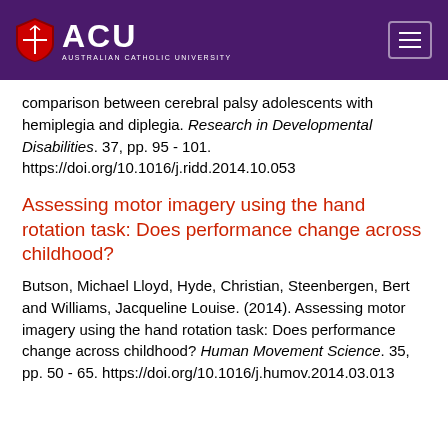ACU Australian Catholic University
comparison between cerebral palsy adolescents with hemiplegia and diplegia. Research in Developmental Disabilities. 37, pp. 95 - 101. https://doi.org/10.1016/j.ridd.2014.10.053
Assessing motor imagery using the hand rotation task: Does performance change across childhood?
Butson, Michael Lloyd, Hyde, Christian, Steenbergen, Bert and Williams, Jacqueline Louise. (2014). Assessing motor imagery using the hand rotation task: Does performance change across childhood? Human Movement Science. 35, pp. 50 - 65. https://doi.org/10.1016/j.humov.2014.03.013